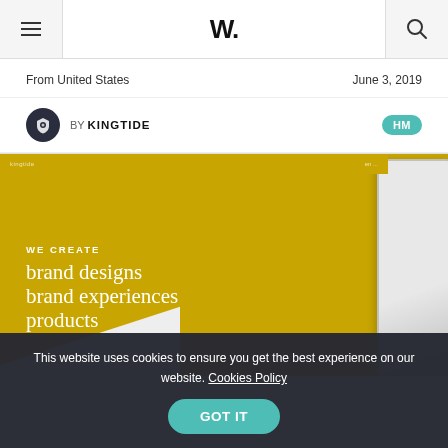W.
From United States	June 3, 2019
BY KINGTIDE	HM
[Figure (screenshot): Screenshot of Kingtide agency website shown on tablet mockup with yellow background, text reading WE CREATE brand designs brand experiences products]
This website uses cookies to ensure you get the best experience on our website. Cookies Policy GOT IT